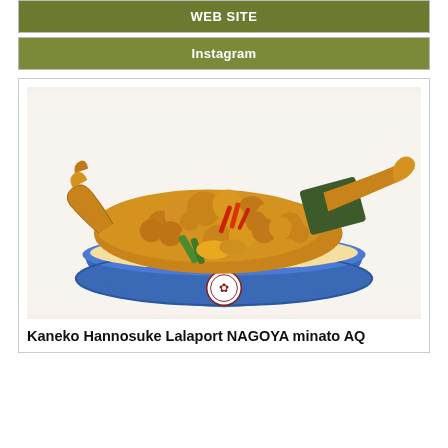WEB SITE
Instagram
[Figure (photo): A Japanese tendon (tempura rice bowl) overflowing with fried tempura including shrimp, vegetables, and seaweed in a decorative blue and white bowl with a family crest emblem, on a white background.]
Kaneko Hannosuke Lalaport NAGOYA minato AQ